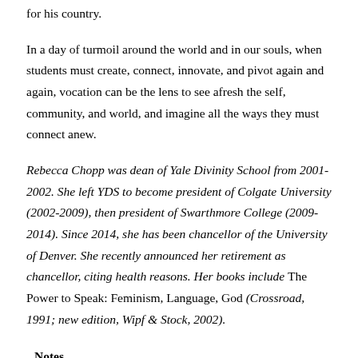for his country.
In a day of turmoil around the world and in our souls, when students must create, connect, innovate, and pivot again and again, vocation can be the lens to see afresh the self, community, and world, and imagine all the ways they must connect anew.
Rebecca Chopp was dean of Yale Divinity School from 2001-2002. She left YDS to become president of Colgate University (2002-2009), then president of Swarthmore College (2009-2014). Since 2014, she has been chancellor of the University of Denver. She recently announced her retirement as chancellor, citing health reasons. Her books include The Power to Speak: Feminism, Language, God (Crossroad, 1991; new edition, Wipf & Stock, 2002).
Notes